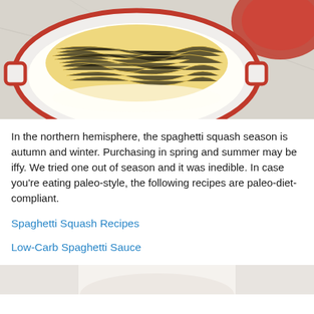[Figure (photo): Top-down view of a white oval baking dish with red rim handles containing cooked spaghetti squash strands, on a marble surface with a red plate partially visible in the upper right corner.]
In the northern hemisphere, the spaghetti squash season is autumn and winter. Purchasing in spring and summer may be iffy. We tried one out of season and it was inedible. In case you’re eating paleo-style, the following recipes are paleo-diet-compliant.
Spaghetti Squash Recipes
Low-Carb Spaghetti Sauce
[Figure (photo): Partial bottom photo, appears to show a light-colored dish, cropped.]